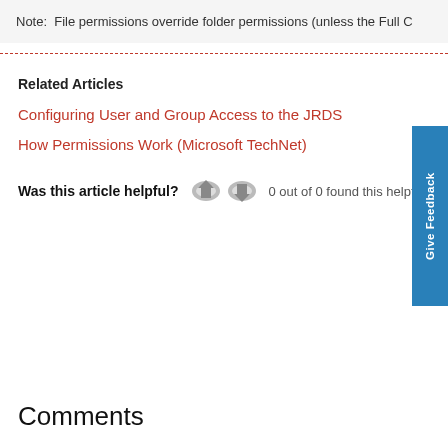Note:  File permissions override folder permissions (unless the Full C
Related Articles
Configuring User and Group Access to the JRDS
How Permissions Work (Microsoft TechNet)
Was this article helpful?  0 out of 0 found this helpful
Comments